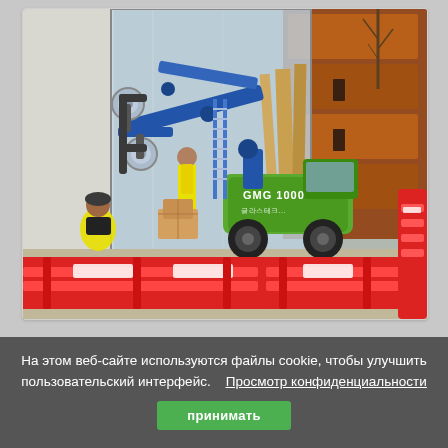[Figure (photo): A green and blue GMG 1000 glazing robot with suction cups pressing a large glass panel against a building facade. Workers in yellow vests are visible. Red construction barriers are in the foreground. The machine is a wheeled vehicle with a blue hydraulic arm.]
На этом веб-сайте используются файлы cookie, чтобы улучшить пользовательский интерфейс.   Просмотр конфиденциальности
принимать